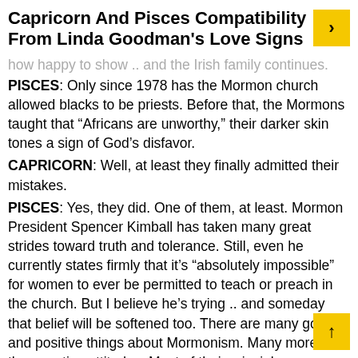Capricorn And Pisces Compatibility From Linda Goodman's Love Signs
PISCES: Only since 1978 has the Mormon church allowed blacks to be priests. Before that, the Mormons taught that “Africans are unworthy,” their darker skin tones a sign of God’s disfavor.
CAPRICORN: Well, at least they finally admitted their mistakes.
PISCES: Yes, they did. One of them, at least. Mormon President Spencer Kimball has taken many great strides toward truth and tolerance. Still, even he currently states firmly that it’s “absolutely impossible” for women to ever be permitted to teach or preach in the church. But I believe he’s trying .. and someday that belief will be softened too. There are many good and positive things about Mormonism. Many more than the negative attitudes. Most of their principles are sound and sensible.
CAPRICORN: Listen .. I’ve decided you aren’t prejudiced